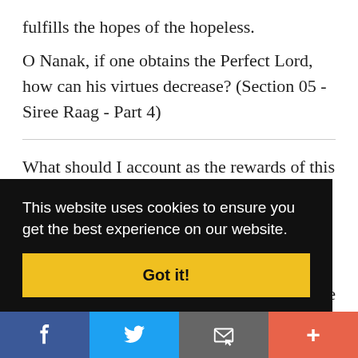fulfills the hopes of the hopeless.
O Nanak, if one obtains the Perfect Lord, how can his virtues decrease? (Section 05 - Siree Raag - Part 4)
What should I account as the rewards of this human life, if one does not feel love and devotion ... the
This website uses cookies to ensure you get the best experience on our website.
Got it!